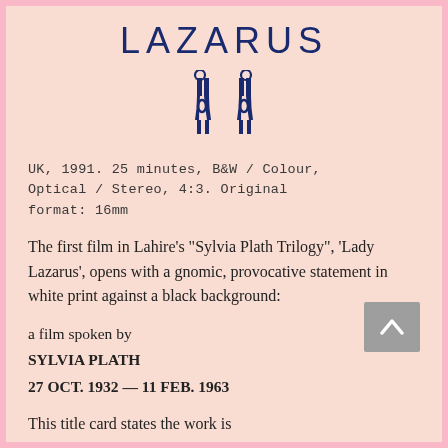LAZARUS
[Figure (logo): Stylized logo of two mirrored human-like figures in dark navy blue, abstract and symmetrical, resembling a publisher or label mark]
UK, 1991. 25 minutes, B&W / Colour, Optical / Stereo, 4:3. Original format: 16mm
The first film in Lahire's "Sylvia Plath Trilogy", 'Lady Lazarus', opens with a gnomic, provocative statement in white print against a black background:
a film spoken by
SYLVIA PLATH
27 OCT. 1932 — 11 FEB. 1963
This title card states the work is "spoken" by Plath, while the credits at